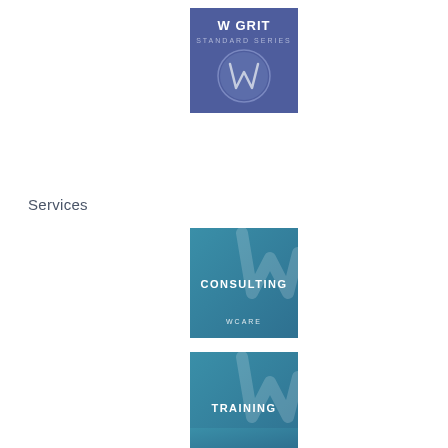[Figure (logo): W GRIT Standard Series logo: blue/indigo square with text 'W GRIT' and 'STANDARD SERIES' and circular W emblem in lighter blue]
Services
[Figure (logo): CONSULTING service tile: teal/blue square with large W watermark and text 'CONSULTING' and 'WCARE']
[Figure (logo): TRAINING service tile: teal/blue square with large W watermark and text 'TRAINING' and 'WCARE']
[Figure (logo): Partial view of another teal/blue service tile at bottom]